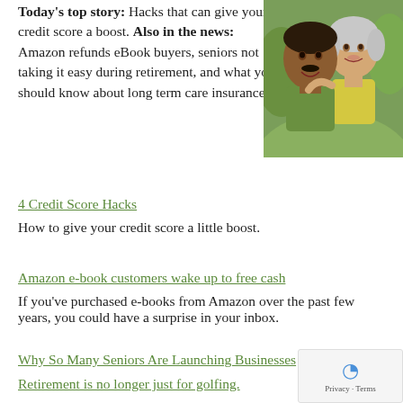Today's top story: Hacks that can give your credit score a boost. Also in the news: Amazon refunds eBook buyers, seniors not taking it easy during retirement, and what you should know about long term care insurance.
[Figure (photo): Smiling older couple, man in green shirt, woman in yellow top, outdoors green background]
4 Credit Score Hacks
How to give your credit score a little boost.
Amazon e-book customers wake up to free cash
If you've purchased e-books from Amazon over the past few years, you could have a surprise in your inbox.
Why So Many Seniors Are Launching Businesses
Retirement is no longer just for golfing.